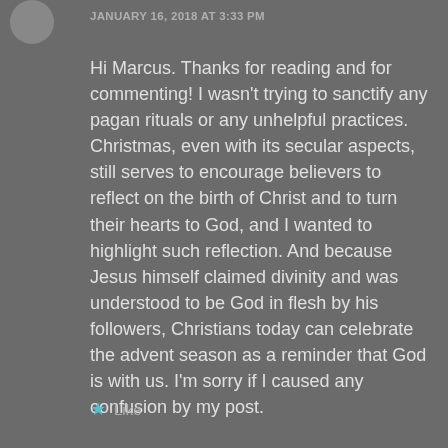JANUARY 16, 2018 AT 3:33 PM
Hi Marcus. Thanks for reading and for commenting! I wasn't trying to sanctify any pagan rituals or any unhelpful practices. Christmas, even with its secular aspects, still serves to encourage believers to reflect on the birth of Christ and to turn their hearts to God, and I wanted to highlight such reflection. And because Jesus himself claimed divinity and was understood to be God in flesh by his followers, Christians today can celebrate the advent season as a reminder that God is with us. I'm sorry if I caused any confusion by my post.
Like